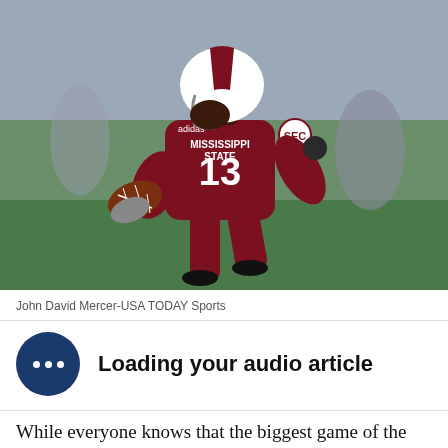[Figure (photo): A Mississippi State football player wearing maroon jersey number 13 running with a football. The player wears a white helmet and the jersey shows 'MISSISSIPPI STATE' and SEC logo. Photo credit: John David Mercer-USA TODAY Sports.]
John David Mercer-USA TODAY Sports
Loading your audio article
While everyone knows that the biggest game of the season is taking place in Lawrence as the white-hot